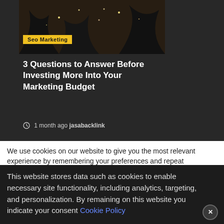[Figure (photo): Dark outdoor photo with lights/sparkles in trees, dark background]
Seo Marketing
3 Questions to Answer Before Investing More Into Your Marketing Budget
1 month ago  jasabacklink
We use cookies on our website to give you the most relevant experience by remembering your preferences and repeat visits. By clicking "Accept All", you consent to the use of ALL the cookies. However, you may visit "Cookie Settings" to provide a controlled consent.
This website stores data such as cookies to enable necessary site functionality, including analytics, targeting, and personalization. By remaining on this website you indicate your consent Cookie Policy